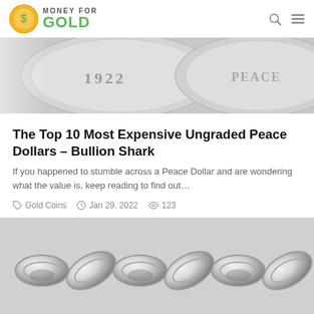Money For Gold
[Figure (photo): Close-up of silver coins showing '1922' and 'PEACE' text — Peace Dollars]
The Top 10 Most Expensive Ungraded Peace Dollars – Bullion Shark
If you happened to stumble across a Peace Dollar and are wondering what the value is, keep reading to find out…
Gold Coins   Jan 29, 2022   123
[Figure (photo): Close-up of a silver chain / bracelet with interlocking links]